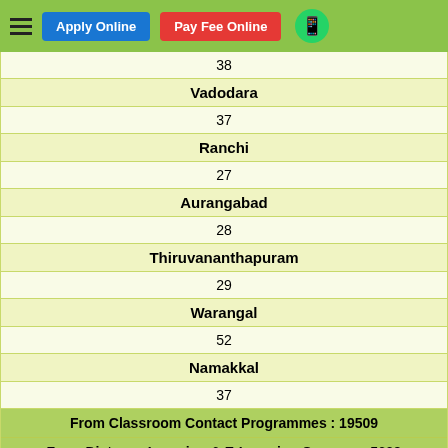Apply Online | Pay Fee Online
| 38 |
| Vadodara |
| 37 |
| Ranchi |
| 27 |
| Aurangabad |
| 28 |
| Thiruvananthapuram |
| 29 |
| Warangal |
| 52 |
| Namakkal |
| 37 |
| From Classroom Contact Programmes : 19509 |
| From Distance Learning & E-Learning Courses : 5609 |
List Of Students Selected in JEE MAIN 2020
Total Selections - 25118
Show  30  Records Per Page